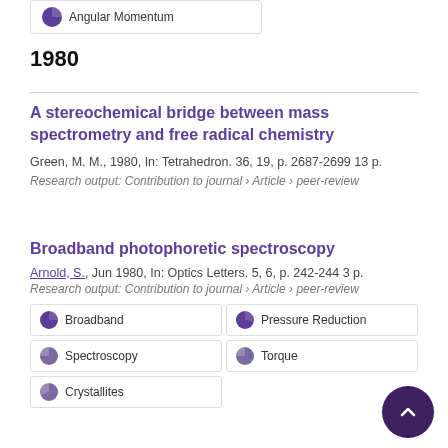Angular Momentum
1980
A stereochemical bridge between mass spectrometry and free radical chemistry
Green, M. M., 1980, In: Tetrahedron. 36, 19, p. 2687-2699 13 p.
Research output: Contribution to journal › Article › peer-review
Broadband photophoretic spectroscopy
Arnold, S., Jun 1980, In: Optics Letters. 5, 6, p. 242-244 3 p.
Research output: Contribution to journal › Article › peer-review
Broadband
Pressure Reduction
Spectroscopy
Torque
Crystallites